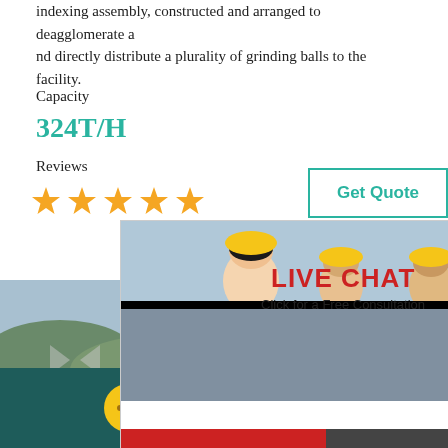indexing assembly, constructed and arranged to deagglomerate and directly distribute a plurality of grinding balls to the facility.
Capacity
324T/H
Reviews
[Figure (infographic): Five orange star rating icons]
[Figure (screenshot): Get Quote button with teal border]
[Figure (screenshot): Live Chat popup with photo of workers in hard hats, 'LIVE CHAT' in red, 'Click for a Free Consultation', Chat now and Chat later buttons]
[Figure (screenshot): Right side satisfaction gauge widget with smiley faces, 'Click me to chat >>' button and Enquiry text]
[Figure (photo): Industrial mining equipment / conveyor belt machinery outdoors]
[Figure (infographic): Dark teal bottom bar with yellow speech bubble icon and 'Chat Online' text in white]